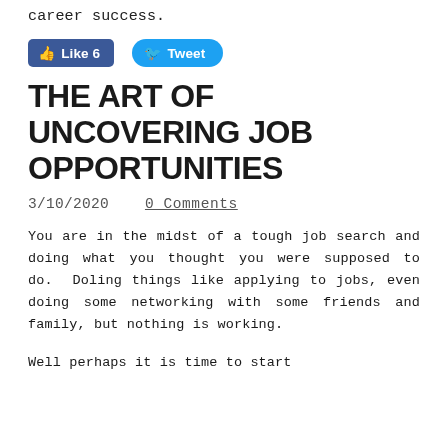career success.
[Figure (other): Social media buttons: Facebook Like (6) and Twitter Tweet]
THE ART OF UNCOVERING JOB OPPORTUNITIES
3/10/2020      0 Comments
You are in the midst of a tough job search and doing what you thought you were supposed to do. Doling things like applying to jobs, even doing some networking with some friends and family, but nothing is working.
Well perhaps it is time to start